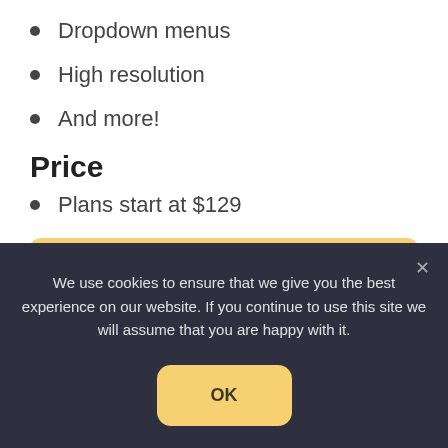Dropdown menus
High resolution
And more!
Price
Plans start at $129
GET RESURRECT CHURCH WORDPRESS THEME
We use cookies to ensure that we give you the best experience on our website. If you continue to use this site we will assume that you are happy with it.
OK